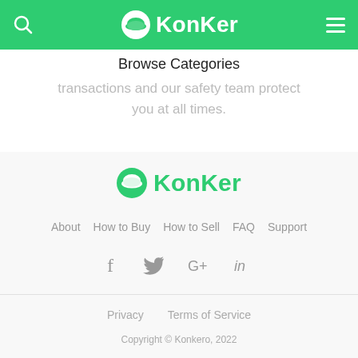KonKer
Browse Categories
transactions and our safety team protect you at all times.
[Figure (logo): KonKer logo with green circle cloud icon and green KonKer text]
About   How to Buy   How to Sell   FAQ   Support
[Figure (infographic): Social media icons: Facebook, Twitter, Google+, LinkedIn]
Privacy   Terms of Service
Copyright © Konkero, 2022